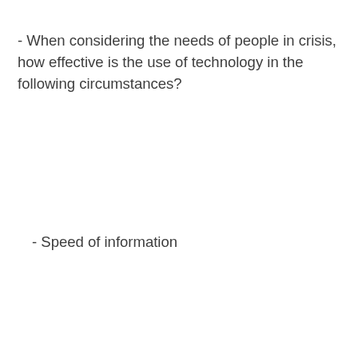- When considering the needs of people in crisis, how effective is the use of technology in the following circumstances?
- Speed of information